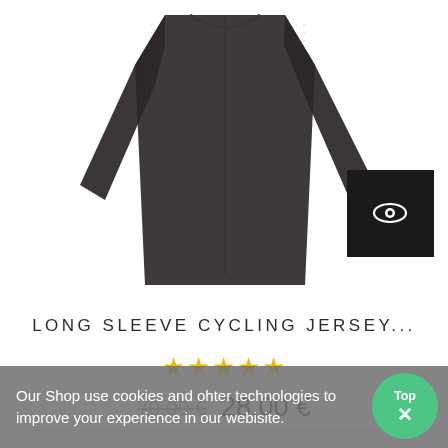[Figure (photo): Dark charcoal long sleeve cycling jersey displayed flat, showing front zip and full sleeves. A small black thumbnail with a white eye icon is visible at bottom right of the product image.]
LONG SLEEVE CYCLING JERSEY...
★★★★★ (5 stars rating)
70,00 €  28,00 €
Our Shop use cookies and ohter technologies to improve your experience in our webisite.